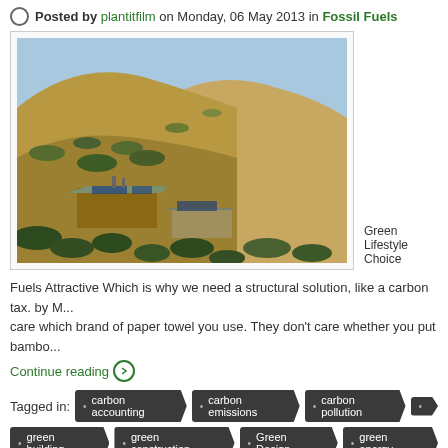Posted by plantitfilm on Monday, 06 May 2013 in Fossil Fuels
[Figure (photo): Aerial/overhead view of a house with solar panels on a desert hillside with scrub brush and mountains in the background]
Green Lifestyle Choice
Fuels Attractive Which is why we need a structural solution, like a carbon tax. by M... care which brand of paper towel you use. They don't care whether you put bambo...
Continue reading
carbon accounting
carbon emissions
carbon pollution
green building
green construction
Green Design
green energy
oil and gas
oil drilling
oil expansion
oil production
oil solut...